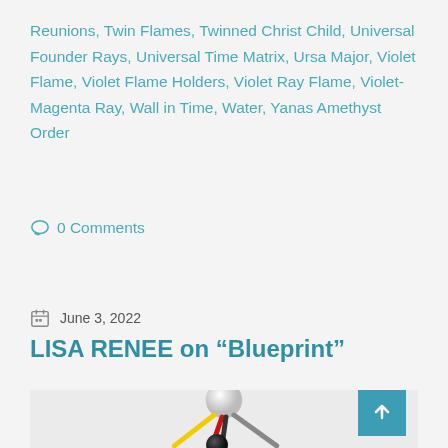Reunions, Twin Flames, Twinned Christ Child, Universal Founder Rays, Universal Time Matrix, Ursa Major, Violet Flame, Violet Flame Holders, Violet Ray Flame, Violet-Magenta Ray, Wall in Time, Water, Yanas Amethyst Order
0 Comments
June 3, 2022
LISA RENEE on “Blueprint”
[Figure (illustration): 3D geometric structure resembling a tetrahedron with colored rods (yellow, red, dark/black, blue-purple) connecting nodes — a large white sphere at top, a black sphere at bottom center, and partial view of lower nodes. The structure sits on a light grey background.]